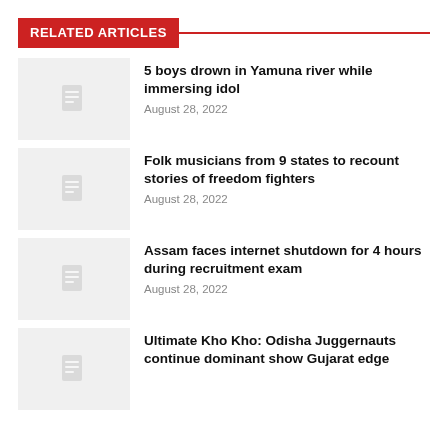RELATED ARTICLES
5 boys drown in Yamuna river while immersing idol
August 28, 2022
Folk musicians from 9 states to recount stories of freedom fighters
August 28, 2022
Assam faces internet shutdown for 4 hours during recruitment exam
August 28, 2022
Ultimate Kho Kho: Odisha Juggernauts continue dominant show Gujarat edge...